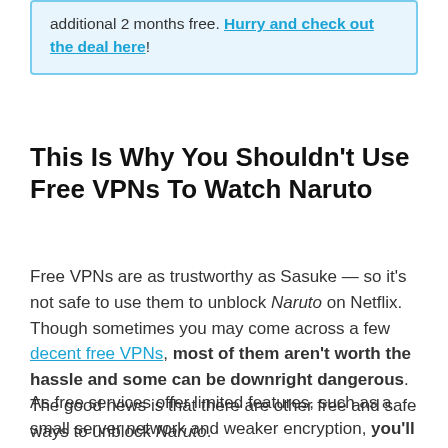additional 2 months free. Hurry and check out the deal here!
This Is Why You Shouldn't Use Free VPNs To Watch Naruto
Free VPNs are as trustworthy as Sasuke — so it's not safe to use them to unblock Naruto on Netflix. Though sometimes you may come across a few decent free VPNs, most of them aren't worth the hassle and some can be downright dangerous. The good news is that there are other free and safe ways to unblock Naruto.
As free services offer limited features, such as a small server network and weaker encryption, you'll struggle to find a free VPN that can consistently